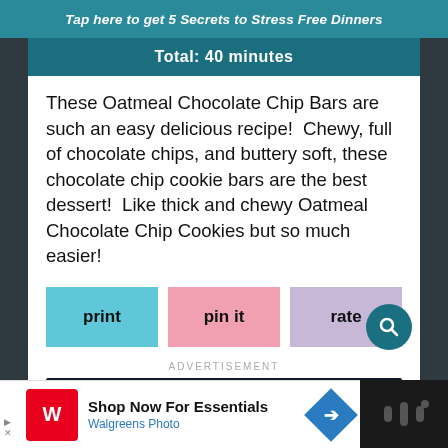Tap here to get 5 Secrets to Stress Free Dinners
Total: 40 minutes
These Oatmeal Chocolate Chip Bars are such an easy delicious recipe!  Chewy, full of chocolate chips, and buttery soft, these chocolate chip cookie bars are the best dessert!  Like thick and chewy Oatmeal Chocolate Chip Cookies but so much easier!
print
pin it
rate
ADVERTISEMENT
[Figure (photo): Dark space-themed advertisement image with planets on dark background]
[Figure (photo): Walgreens Photo ad: Shop Now For Essentials, Walgreens Photo]